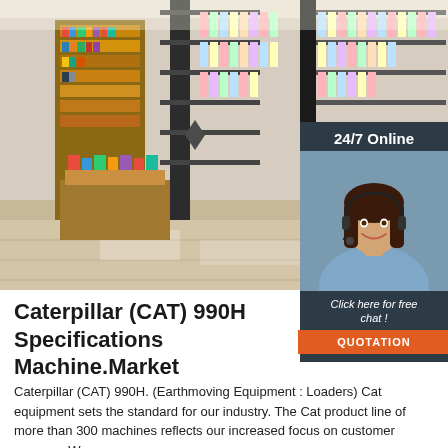[Figure (photo): Interior of a bookstore or stationery shop with shelves full of books and cards, bright overhead lighting, and a shiny tiled floor.]
[Figure (photo): Online chat widget overlay: dark slate background with '24/7 Online' text, a smiling female customer service agent wearing a headset, 'Click here for free chat!' italic text, and an orange 'QUOTATION' button.]
Caterpillar (CAT) 990H Specifications Machine.Market
Caterpillar (CAT) 990H. (Earthmoving Equipment : Loaders) Cat equipment sets the standard for our industry. The Cat product line of more than 300 machines reflects our increased focus on customer success. We